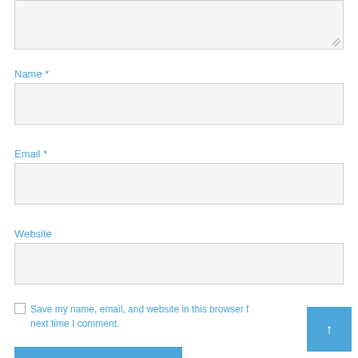[Figure (screenshot): Text area input field (top of page, partially visible)]
Name *
[Figure (screenshot): Name input text field]
Email *
[Figure (screenshot): Email input text field]
Website
[Figure (screenshot): Website input text field]
Save my name, email, and website in this browser for the next time I comment.